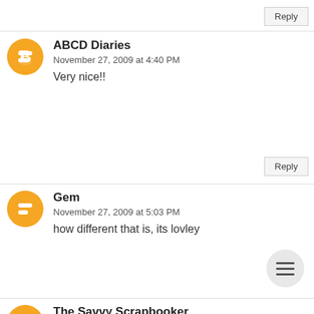Reply
ABCD Diaries
November 27, 2009 at 4:40 PM
Very nice!!
Reply
Gem
November 27, 2009 at 5:03 PM
how different that is, its lovley
The Savvy Scrapbooker